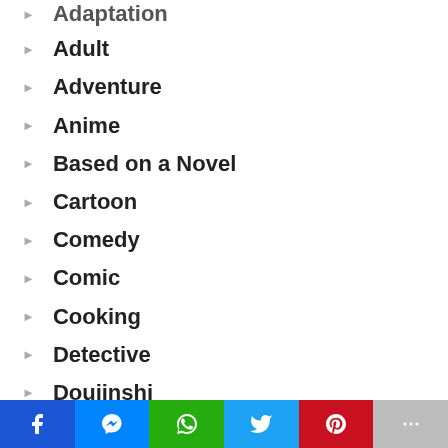Adaptation
Adult
Adventure
Anime
Based on a Novel
Cartoon
Comedy
Comic
Cooking
Detective
Doujinshi
Drama
Social share bar: Facebook, Messenger, WhatsApp, Twitter, Pinterest, More